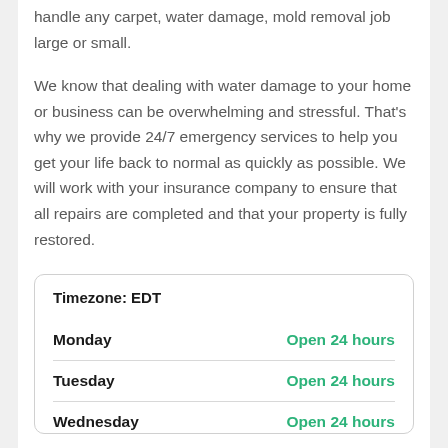handle any carpet, water damage, mold removal job large or small.
We know that dealing with water damage to your home or business can be overwhelming and stressful. That's why we provide 24/7 emergency services to help you get your life back to normal as quickly as possible. We will work with your insurance company to ensure that all repairs are completed and that your property is fully restored.
| Day | Hours |
| --- | --- |
| Timezone: EDT |  |
| Monday | Open 24 hours |
| Tuesday | Open 24 hours |
| Wednesday | Open 24 hours |